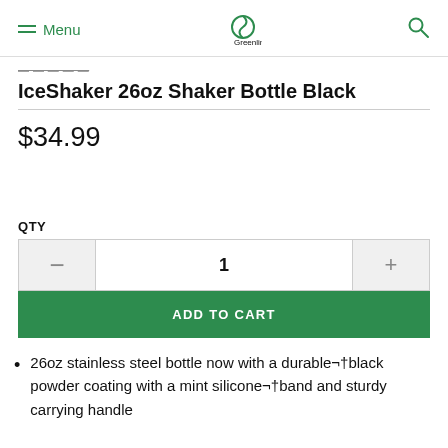Menu | Greenline | Search
...
IceShaker 26oz Shaker Bottle Black
$34.99
QTY
1
ADD TO CART
26oz stainless steel bottle now with a durable¬dblack powder coating with a mint silicone¬dband and sturdy carrying handle